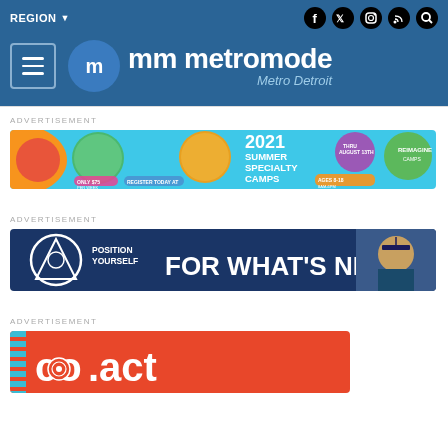REGION  |  [social icons: facebook, twitter, instagram, rss, search]
mm metromode Metro Detroit
ADVERTISEMENT
[Figure (infographic): 2021 Summer Specialty Camps advertisement banner with colorful circles, camp photos, and event details]
ADVERTISEMENT
[Figure (infographic): Position Yourself For What's Next advertisement banner with graduation photo]
ADVERTISEMENT
[Figure (infographic): co.act advertisement banner with orange background and teal stripe]